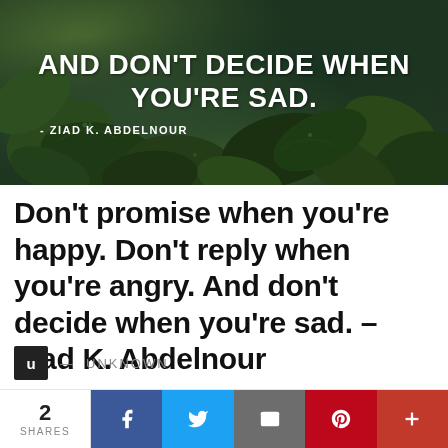[Figure (illustration): Dark green leafy background with white bold text overlay: 'AND DON'T DECIDE WHEN YOU'RE SAD.' and attribution '- ZIAD K. ABDELNOUR']
Don't promise when you're happy. Don't reply when you're angry. And don't decide when you're sad. – Ziad K. Abdelnour
U — UNKNOWN
2 SHARES